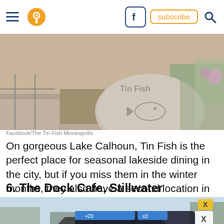Navigation bar with hamburger menu, location pin icon, Facebook icon, subscribe button, search icon
[Figure (photo): A large decorative stone boulder with a fish carved/engraved into it, sitting on a paved outdoor area. The stone reads 'Tin Fish' at the top. Background shows dirt, plants and a fence.]
Facebook/The Tin Fish Minneapolis
On gorgeous Lake Calhoun, Tin Fish is the perfect place for seasonal lakeside dining in the city, but if you miss them in the winter months, they also have a second location in Edina, although, without the waterfront views.
6. The Dock Cafe, Stillwater
[Figure (photo): Outdoor lakeside scene with trees, water, and a dark overlay showing an interactive 'Hold and Move' prompt with person icons, an X button and a question mark button. Yellow X marker visible at top right of image.]